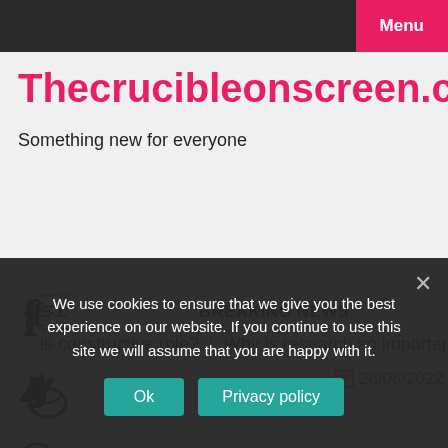Menu
Thecrucibleonscreen.com
Something new for everyone
BREAKING NEWS
is constructive role?  |  Why is research so important?  |  Di...
28/08/2022
We use cookies to ensure that we give you the best experience on our website. If you continue to use this site we will assume that you are happy with it.